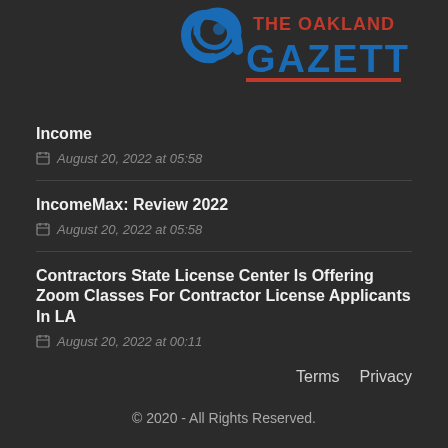[Figure (logo): The Oakland Gazette logo with blue swirl graphic and red/blue text]
Income
August 20, 2022 at 05:58
IncomeMax: Review 2022
August 20, 2022 at 05:58
Contractors State License Center Is Offering Zoom Classes For Contractor License Applicants In LA
August 20, 2022 at 00:11
Terms   Privacy
© 2020 - All Rights Reserved.